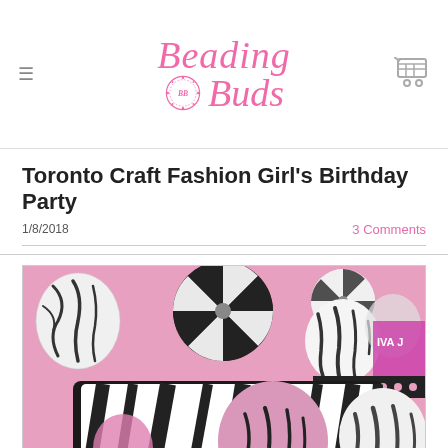Beading Buds
Toronto Craft Fashion Girl's Birthday Party
1/8/2018   3 Comments
[Figure (photo): Birthday party decoration photo featuring zebra-print balloons, black and white paper fans, and large zebra-print letter/number decorations against a pink background, with 'IVA J' text partially visible in the upper right.]